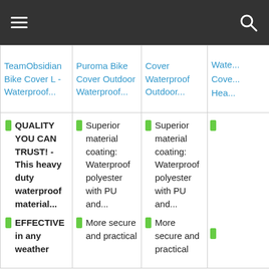Navigation bar with hamburger menu and search icon
| TeamObsidian Bike Cover L - Waterproof... | Puroma Bike Cover Outdoor Waterproof... | Cover Waterproof Outdoor... | Wate... Cove... Hea... |
| --- | --- | --- | --- |
| QUALITY YOU CAN TRUST! - This heavy duty waterproof material... | EFFECTIVE in any weather | Superior material coating: Waterproof polyester with PU and... | More secure and practical | Superior material coating: Waterproof polyester with PU and... | More secure and practical |  |